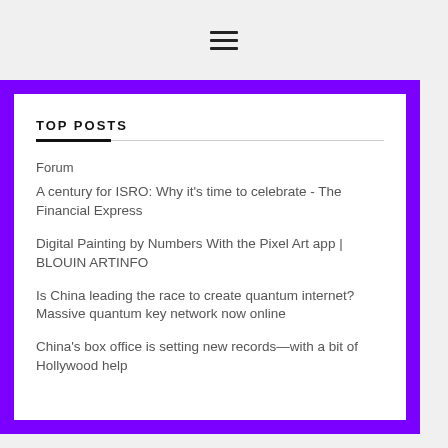≡
TOP POSTS
Forum
A century for ISRO: Why it's time to celebrate - The Financial Express
Digital Painting by Numbers With the Pixel Art app | BLOUIN ARTINFO
Is China leading the race to create quantum internet? Massive quantum key network now online
China's box office is setting new records—with a bit of Hollywood help